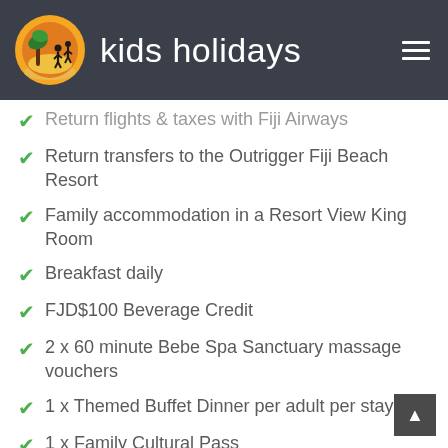kids holidays
Return flights & taxes with Fiji Airways
Return transfers to the Outrigger Fiji Beach Resort
Family accommodation in a Resort View King Room
Breakfast daily
FJD$100 Beverage Credit
2 x 60 minute Bebe Spa Sanctuary massage vouchers
1 x Themed Buffet Dinner per adult per stay
1 x Family Cultural Pass
1 x Free Round of Golf at Driving Range